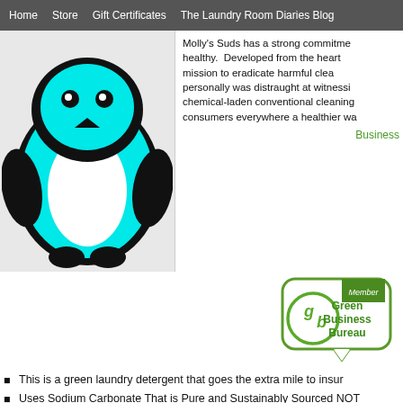Home   Store   Gift Certificates   The Laundry Room Diaries Blog
[Figure (illustration): Molly's Suds cyan penguin mascot logo on light gray background]
Molly's Suds has a strong commitment to keeping families healthy. Developed from the heart of a mother on a mission to eradicate harmful cleaning products, who personally was distraught at witnessing the effects of chemical-laden conventional cleaning products, to give consumers everywhere a healthier way to clean.
Business
[Figure (logo): Green Business Bureau Member badge - green shield shape with 'gb' logo and text 'Member Green Business Bureau']
This is a green laundry detergent that goes the extra mile to insur
Uses Sodium Carbonate That is Pure and Sustainably Sourced NOT
Only Utilizes Food Grade, Wild-Harvested Peppermint Oil
Ensures Sea Salts and Epsom Salts are Triple Filtered and Certified
Food Grade, Aluminum Baking Soda
Molly's Packaging is also eco-friendly:
Detergent Pouch Uses 70% Less Packaging vs. Conventional Bra